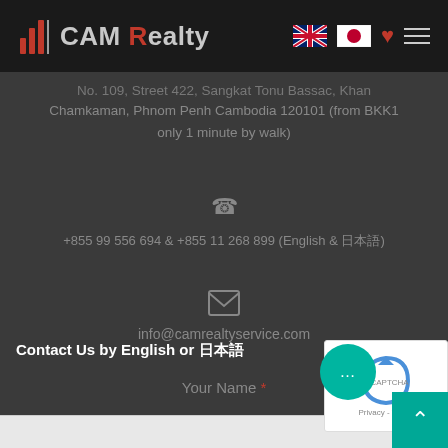CAM Realty
No. 109, Street 422, Sangkat Tonu Bassac, Khan Chamkaman, Phnom Penh Cambodia 120101 (from BKK1 only 1 minute by walk)
+855 99 556 694 & +855 11 268 899 (English & 日本語)
info@camrealtyservice.com
Contact Us by English or 日本語
Your Name *